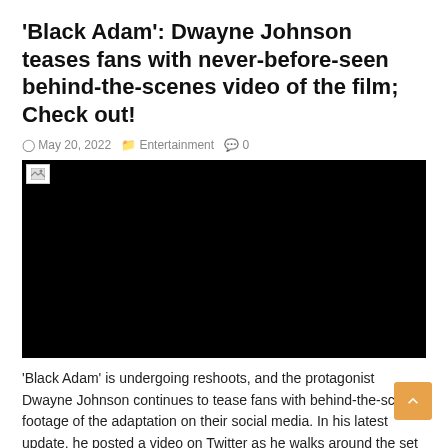'Black Adam': Dwayne Johnson teases fans with never-before-seen behind-the-scenes video of the film; Check out!
May 20, 2022   Entertainment   0
[Figure (photo): Embedded video player, currently showing a black/blank screen with a broken image icon in the upper left corner.]
'Black Adam' is undergoing reshoots, and the protagonist Dwayne Johnson continues to tease fans with behind-the-scenes footage of the adaptation on their social media. In his latest update, he posted a video on Twitter as he walks around the set dressed up as the anti-